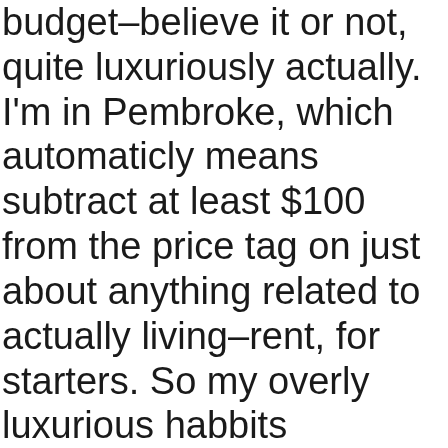budget–believe it or not, quite luxuriously actually. I'm in Pembroke, which automaticly means subtract at least $100 from the price tag on just about anything related to actually living–rent, for starters. So my overly luxurious habbits